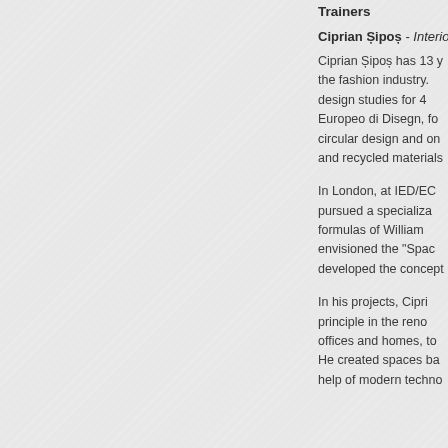Trainers
Ciprian Șipoș - Interior...
Ciprian Șipoș has 13 y... the fashion industry. design studies for 4 Europeo di Disegn, fo... circular design and on and recycled materials
In London, at IED/EC... pursued a specializa... formulas of William envisioned the "Spac... developed the concept
In his projects, Cipri... principle in the reno... offices and homes, to He created spaces ba... help of modern techno...